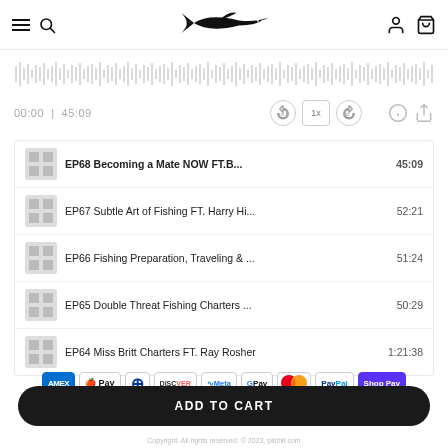[Figure (screenshot): Website header with hamburger menu, search icon, marlin fish logo, user account icon, and cart icon]
[Figure (other): Audio waveform player showing 00:00 | 45:09 with rewind 10s, 1x speed, forward 30s, info, and share controls]
EP68 Becoming a Mate NOW FT.B... 45:09
EP67 Subtle Art of Fishing FT. Harry Hi... 52:21
EP66 Fishing Preparation, Traveling & ... 51:24
EP65 Double Threat Fishing Charters ... 50:29
EP64 Miss Britt Charters FT. Ray Rosher 1:21:38
[Figure (other): Payment method icons: American Express, Apple Pay, Diners Club, Discover, Meta Pay, Google Pay, Mastercard, PayPal, Shop Pay]
ADD TO CART
Copyright. All rights reserved. © 2023, pitchit.com